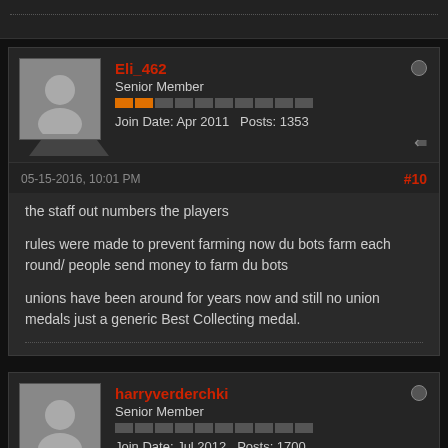Eli_462
Senior Member
Join Date: Apr 2011  Posts: 1353
05-15-2016, 10:01 PM  #10
the staff out numbers the players

rules were made to prevent farming now du bots farm each round/ people send money to farm du bots

unions have been around for years now and still no union medals just a generic Best Collecting medal.
harryverderchki
Senior Member
Join Date: Jul 2012  Posts: 1700